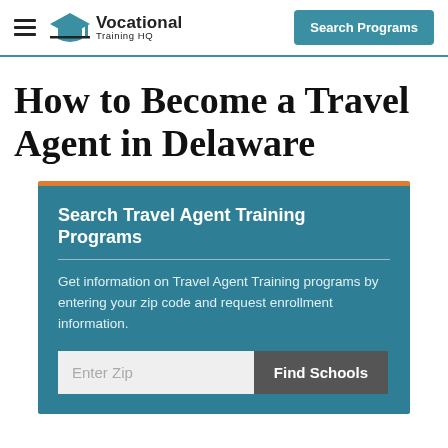Vocational Training HQ — Search Programs
How to Become a Travel Agent in Delaware
Search Travel Agent Training Programs
Get information on Travel Agent Training programs by entering your zip code and request enrollment information.